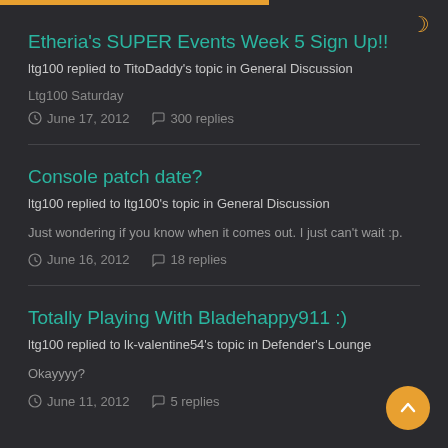Etheria's SUPER Events Week 5 Sign Up!! — ltg100 replied to TitoDaddy's topic in General Discussion — Ltg100 Saturday — June 17, 2012 — 300 replies
Console patch date? — ltg100 replied to ltg100's topic in General Discussion — Just wondering if you know when it comes out. I just can't wait :p. — June 16, 2012 — 18 replies
Totally Playing With Bladehappy911 :) — ltg100 replied to lk-valentine54's topic in Defender's Lounge — Okayyyy? — June 11, 2012 — 5 replies